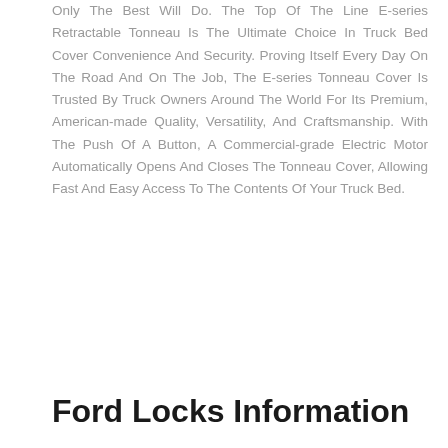Only The Best Will Do. The Top Of The Line E-series Retractable Tonneau Is The Ultimate Choice In Truck Bed Cover Convenience And Security. Proving Itself Every Day On The Road And On The Job, The E-series Tonneau Cover Is Trusted By Truck Owners Around The World For Its Premium, American-made Quality, Versatility, And Craftsmanship. With The Push Of A Button, A Commercial-grade Electric Motor Automatically Opens And Closes The Tonneau Cover, Allowing Fast And Easy Access To The Contents Of Your Truck Bed.
Ford Locks Information